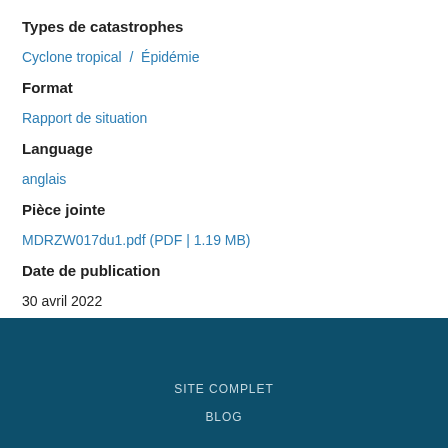Types de catastrophes
Cyclone tropical  /  Épidémie
Format
Rapport de situation
Language
anglais
Pièce jointe
MDRZW017du1.pdf (PDF | 1.19 MB)
Date de publication
30 avril 2022
SITE COMPLET
BLOG